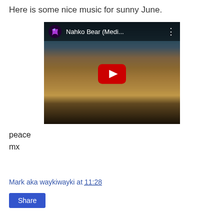Here is some nice music for sunny June.
[Figure (screenshot): YouTube video thumbnail showing Nahko Bear (Medi... with a rocky mountain landscape background and red play button]
peace
mx
Mark aka waykiwayki at 11:28
Share